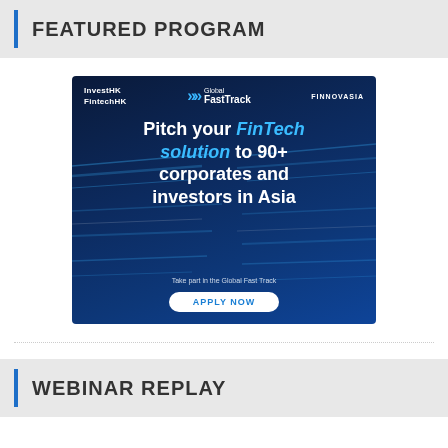FEATURED PROGRAM
[Figure (illustration): Advertisement banner for Global Fast Track program by InvestHK, FintechHK, and Finnovasia. Dark blue background with glowing light streaks. Text: 'Pitch your FinTech solution to 90+ corporates and investors in Asia'. Tagline: 'Take part in the Global Fast Track'. Button: 'APPLY NOW'.]
WEBINAR REPLAY